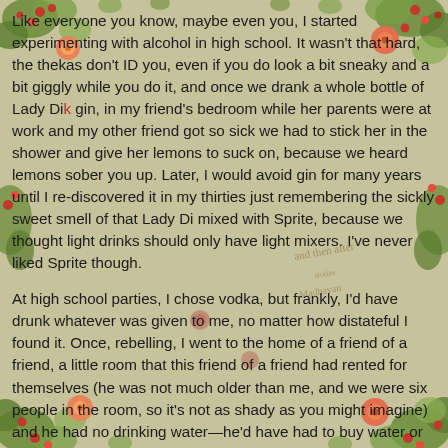[Figure (illustration): Decorative floral and botanical background illustration with colorful flowers, berries, leaves in red, orange, green tones on a muted beige-green background. Partially visible book title text in the center-right area reading 'and then after stories Madhavan'.]
Like everyone you know, maybe even you, I started experimenting with alcohol in high school. It wasn't that hard, the thekas don't ID you, even if you do look a bit sneaky and a bit giggly while you do it, and once we drank a whole bottle of Lady Di gin, in my friend's bedroom while her parents were at work and my other friend got so sick we had to stick her in the shower and give her lemons to suck on, because we heard lemons sober you up. Later, I would avoid gin for many years until I re-discovered it in my thirties just remembering the sickly sweet smell of that Lady Di mixed with Sprite, because we thought light drinks should only have light mixers. I've never liked Sprite though.
At high school parties, I chose vodka, but frankly, I'd have drunk whatever was given to me, no matter how distateful I found it. Once, rebelling, I went to the home of a friend of a friend, a little room that this friend of a friend had rented for themselves (he was not much older than me, and we were six people in the room, so it's not as shady as you might imagine) and he had no drinking water—he'd have had to buy water or boil it—but he had six cans of extremely cold beer, which he offered to me, and which I drank, throat